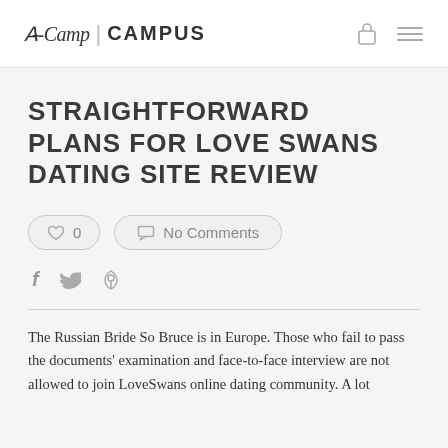A-Camp | CAMPUS
STRAIGHTFORWARD PLANS FOR LOVE SWANS DATING SITE REVIEW
0  No Comments
The Russian Bride So Bruce is in Europe. Those who fail to pass the documents' examination and face-to-face interview are not allowed to join LoveSwans online dating community. A lot